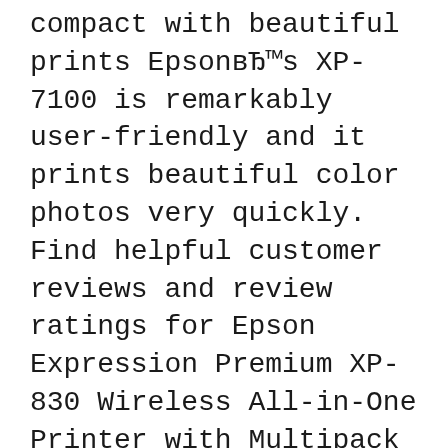compact with beautiful prints Epson's XP-7100 is remarkably user-friendly and it prints beautiful color photos very quickly. Find helpful customer reviews and review ratings for Epson Expression Premium XP-830 Wireless All-in-One Printer with Multipack Ink at Amazon.com. Read honest and unbiased product reviews вЂ¦
29/05/2019В В· The Bottom Line. The Epson Expression Premium XP-6100 is a small but capable inkjet photo all-in-one designed for light-duty home and small office printing and copying. Nous vous proposons une gamme complГЁte de cartouches d'encre pour tous les types